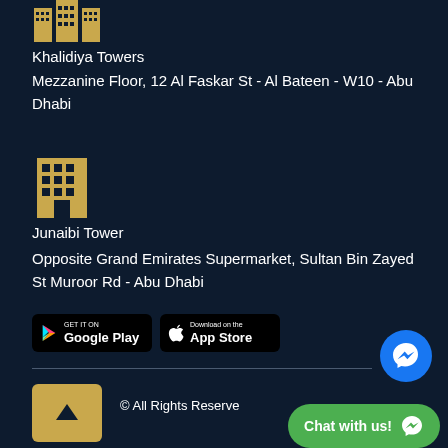[Figure (illustration): Golden mosque/towers building icon]
Khalidiya Towers
Mezzanine Floor, 12 Al Faskar St - Al Bateen - W10 - Abu Dhabi
[Figure (illustration): Golden office building icon]
Junaibi Tower
Opposite Grand Emirates Supermarket, Sultan Bin Zayed St Muroor Rd - Abu Dhabi
[Figure (illustration): Google Play and App Store download buttons]
© All Rights Reserve
[Figure (illustration): Blue Facebook Messenger chat button]
Chat with us!